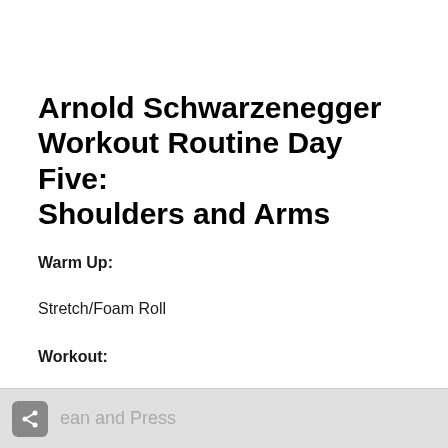Arnold Schwarzenegger Workout Routine Day Five: Shoulders and Arms
Warm Up:
Stretch/Foam Roll
Workout:
ean and Press